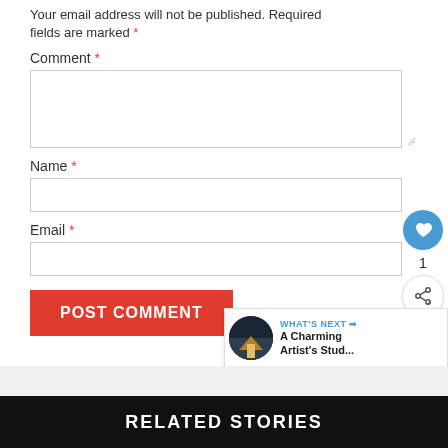Your email address will not be published. Required fields are marked *
Comment *
Name *
Email *
POST COMMENT
1
WHAT'S NEXT → A Charming Artist's Stud...
RELATED STORIES